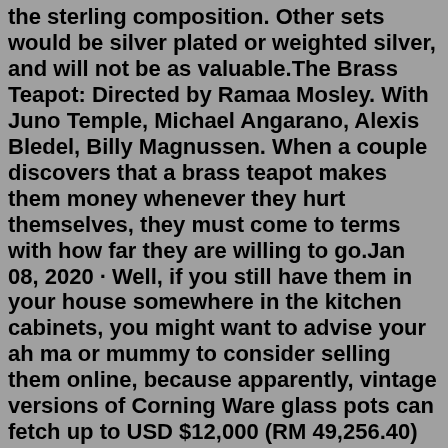the sterling composition. Other sets would be silver plated or weighted silver, and will not be as valuable.The Brass Teapot: Directed by Ramaa Mosley. With Juno Temple, Michael Angarano, Alexis Bledel, Billy Magnussen. When a couple discovers that a brass teapot makes them money whenever they hurt themselves, they must come to terms with how far they are willing to go.Jan 08, 2020 · Well, if you still have them in your house somewhere in the kitchen cabinets, you might want to advise your ah ma or mummy to consider selling them online, because apparently, vintage versions of Corning Ware glass pots can fetch up to USD $12,000 (RM 49,256.40) on Ebay, according to Better Homes & Gardens! Source: better homes & gardens. excellent prices and Gibson Vintage Sons Teapot Black get the latest - lyncag.org. excellent prices and Gibson Vintage Sons Teapot Black get the latest ... Choice of options for transactions and in-game currency . ... vintage mongoose bmx for sale; is300 auto transmission upgrade; soundstage access; 2009